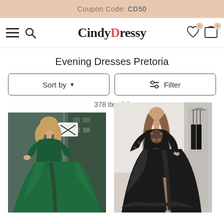Coupon Code: CD50
[Figure (logo): CindyDressy logo with navigation icons (hamburger menu, search, wishlist, cart)]
Evening Dresses Pretoria
Sort by ▼
⇌ Filter
378 Item(s)
[Figure (photo): Woman in a long dark green evening dress with long sleeves and a high slit, posing outdoors near a modern building]
[Figure (photo): Woman in a black lace long-sleeve evening gown with high slit, posing indoors]